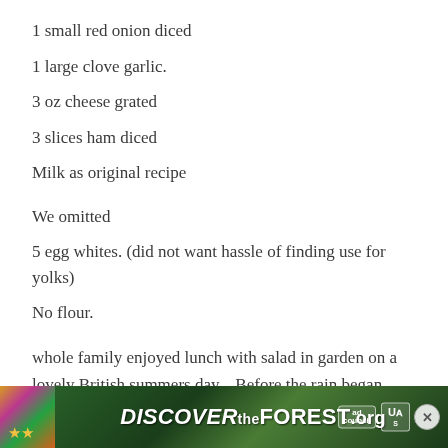1 small red onion diced
1 large clove garlic.
3 oz cheese grated
3 slices ham diced
Milk as original recipe
We omitted
5 egg whites. (did not want hassle of finding use for yolks)
No flour.
whole family enjoyed lunch with salad in garden on a lovely British summers day... Before the rain began.
[Figure (other): Advertisement banner for DiscoverTheForest.org with colorful forest/flower imagery, ad council and US Forest Service badges, and a close button.]